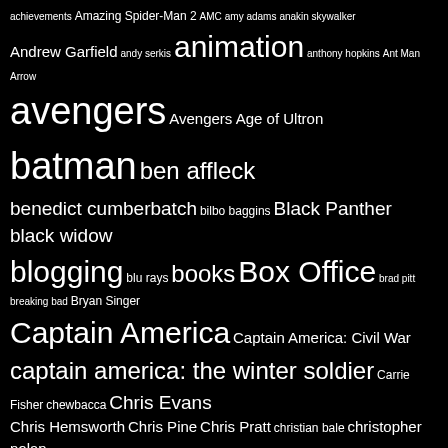[Figure (infographic): Word cloud on black background with white text showing various tags/topics related to movies, comics, entertainment, and pop culture. Words are sized by frequency/importance.]